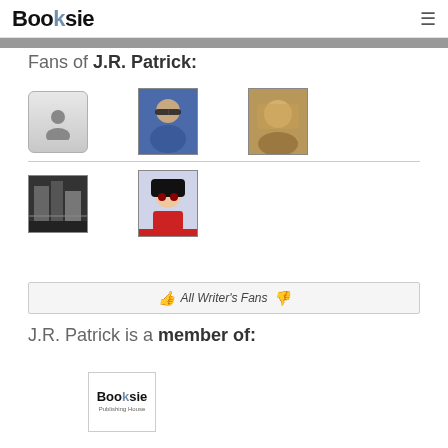Booksie
Fans of J.R. Patrick:
[Figure (photo): Grid of 5 fan avatar photos for J.R. Patrick: placeholder silhouette, man with sunglasses, sandy-haired figure, black-and-white urban photo, anime character]
All Writer's Fans
J.R. Patrick is a member of:
[Figure (logo): Booksie Publishing House logo]